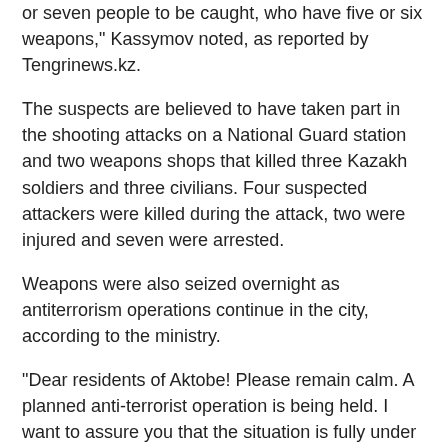or seven people to be caught, who have five or six weapons," Kassymov noted, as reported by Tengrinews.kz.
The suspects are believed to have taken part in the shooting attacks on a National Guard station and two weapons shops that killed three Kazakh soldiers and three civilians. Four suspected attackers were killed during the attack, two were injured and seven were arrested.
Weapons were also seized overnight as antiterrorism operations continue in the city, according to the ministry.
“Dear residents of Aktobe! Please remain calm. A planned anti-terrorist operation is being held. I want to assure you that the situation is fully under control. At the moment, the situation is stable,” said Akim (Governor) of the Aktobe region Berdybek Saparbayev in a June 5 address carried by various news outlets. “Anyone who noticed suspicious persons must report to the police and call 102.”
Minister of Information and Communications Dauren Abayev also commented on the Aktobe events on his Facebook account.
“Yesterday was a very difficult day for all of us… I want to express my deep condolences to the families and friends of those killed by